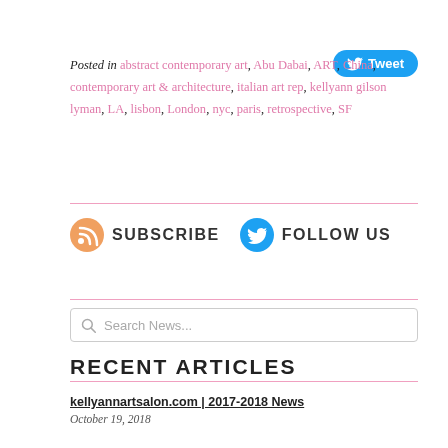Posted in abstract contemporary art, Abu Dabai, ART, China, contemporary art & architecture, italian art rep, kellyann gilson lyman, LA, lisbon, London, nyc, paris, retrospective, SF
[Figure (other): Twitter Tweet button - blue rounded rectangle with bird icon and 'Tweet' text]
[Figure (other): RSS orange circle icon with SUBSCRIBE text and Twitter blue circle icon with FOLLOW US text]
[Figure (other): Search box with magnifying glass icon and placeholder text 'Search News...']
RECENT ARTICLES
kellyannartsalon.com | 2017-2018 News
October 19, 2018